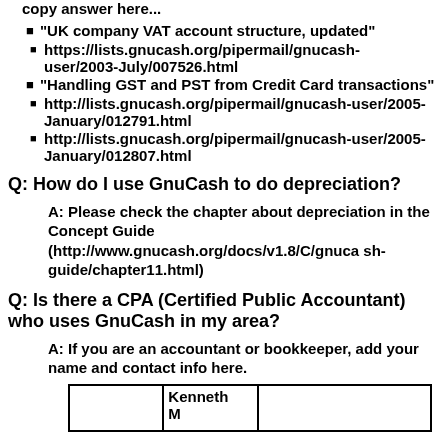copy answer here...
"UK company VAT account structure, updated"
https://lists.gnucash.org/pipermail/gnucash-user/2003-July/007526.html
"Handling GST and PST from Credit Card transactions"
http://lists.gnucash.org/pipermail/gnucash-user/2005-January/012791.html
http://lists.gnucash.org/pipermail/gnucash-user/2005-January/012807.html
Q: How do I use GnuCash to do depreciation?
A: Please check the chapter about depreciation in the Concept Guide (http://www.gnucash.org/docs/v1.8/C/gnucash-guide/chapter11.html)
Q: Is there a CPA (Certified Public Accountant) who uses GnuCash in my area?
A: If you are an accountant or bookkeeper, add your name and contact info here.
|  | Kenneth M |  |
| --- | --- | --- |